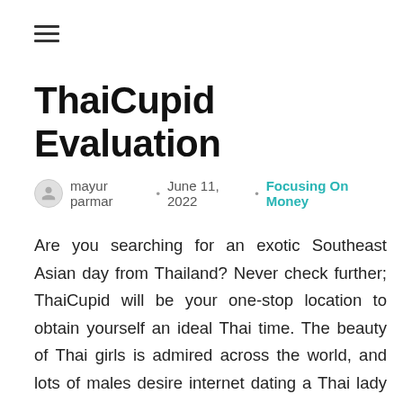[Figure (other): Hamburger menu icon with three horizontal lines]
ThaiCupid Evaluation
mayur parmar • June 11, 2022 • Focusing On Money
Are you searching for an exotic Southeast Asian day from Thailand? Never check further; ThaiCupid will be your one-stop location to obtain yourself an ideal Thai time. The beauty of Thai girls is admired across the world, and lots of males desire internet dating a Thai lady while wanting to know how it must feel just like sophisticated Thai girl; that is where Cupid news was available in the structure and created another internet dating market website, ThaiCupid. Its